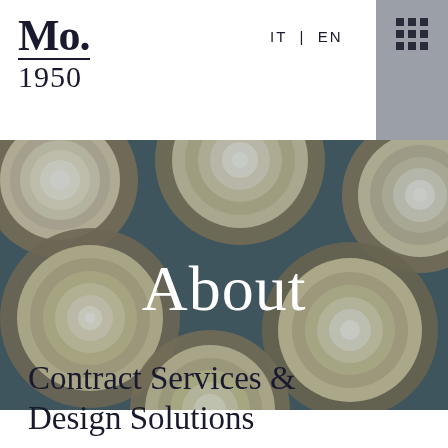Mo. 1950
IT | EN
[Figure (photo): Overhead view of multiple round wooden bowls or circular wooden objects with concentric ring patterns on a dark teal/steel blue background, with the word 'About' overlaid in white serif text.]
Contract Services & Design Solutions